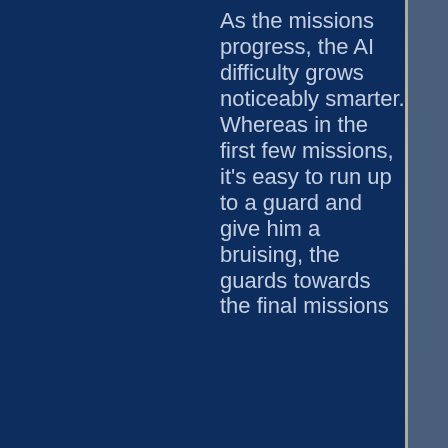As the missions progress, the AI difficulty grows noticeably smarter. Whereas in the first few missions, it's easy to run up to a guard and give him a bruising, the guards towards the final missions